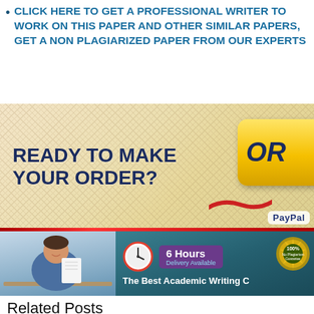CLICK HERE TO GET A PROFESSIONAL WRITER TO WORK ON THIS PAPER AND OTHER SIMILAR PAPERS, GET A NON PLAGIARIZED PAPER FROM OUR EXPERTS
[Figure (illustration): Banner ad reading 'READY TO MAKE YOUR ORDER?' with a yellow ORDER button partially visible on the right side, textured beige/cream background, and PayPal logo at bottom right]
[Figure (illustration): Academic writing service banner showing a man holding papers on the left, and on the right a clock icon with '6 Hours Delivery Available' text, '100% No Plagiarism Guarantee' badge, and 'The Best Academic Writing' text on teal background]
Related Posts
Middle School science
Assignment 2: Ethical (Moral) Relativism